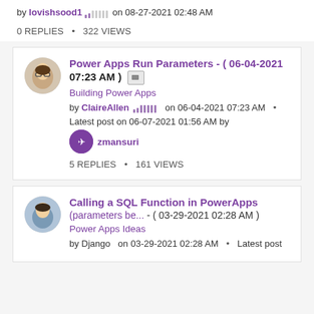by lovishsood1 [bar icon] on 08-27-2021 02:48 AM
0 REPLIES • 322 VIEWS
[Figure (screenshot): Forum post card: Power Apps Run Parameters - ( 06-04-2021 07:23 AM ) [image icon]. Board: Building Power Apps. by ClaireAllen [bar icon] on 06-04-2021 07:23 AM • Latest post on 06-07-2021 01:56 AM by zmansuri [avatar]. 5 REPLIES • 161 VIEWS]
[Figure (screenshot): Forum post card: Calling a SQL Function in PowerApps (parameters be... - ( 03-29-2021 02:28 AM ). Board: Power Apps Ideas. by Django on 03-29-2021 02:28 AM • Latest post]